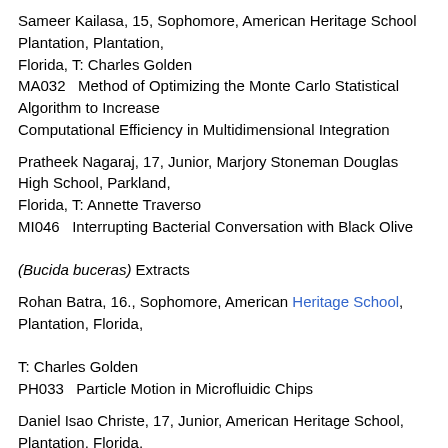Sameer Kailasa, 15, Sophomore, American Heritage School Plantation, Plantation, Florida, T: Charles Golden MA032   Method of Optimizing the Monte Carlo Statistical Algorithm to Increase Computational Efficiency in Multidimensional Integration
Pratheek Nagaraj, 17, Junior, Marjory Stoneman Douglas High School, Parkland, Florida, T: Annette Traverso MI046   Interrupting Bacterial Conversation with Black Olive (Bucida buceras) Extracts
Rohan Batra, 16., Sophomore, American Heritage School, Plantation, Florida, T: Charles Golden PH033   Particle Motion in Microfluidic Chips
Daniel Isao Christe, 17, Junior, American Heritage School, Plantation, Florida, T: Dawn Gregor